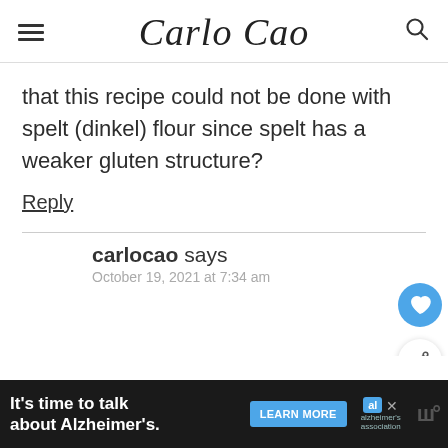Carlo Cao
that this recipe could not be done with spelt (dinkel) flour since spelt has a weaker gluten structure?
Reply
carlocao says
October 19, 2021 at 7:34 am
WHAT'S NEXT → How To Make The Best...
It's time to talk about Alzheimer's.